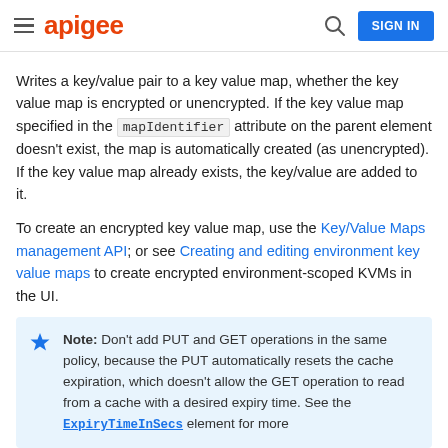apigee | SIGN IN
Writes a key/value pair to a key value map, whether the key value map is encrypted or unencrypted. If the key value map specified in the mapIdentifier attribute on the parent element doesn't exist, the map is automatically created (as unencrypted). If the key value map already exists, the key/value are added to it.
To create an encrypted key value map, use the Key/Value Maps management API; or see Creating and editing environment key value maps to create encrypted environment-scoped KVMs in the UI.
Note: Don't add PUT and GET operations in the same policy, because the PUT automatically resets the cache expiration, which doesn't allow the GET operation to read from a cache with a desired expiry time. See the ExpiryTimeInSecs element for more